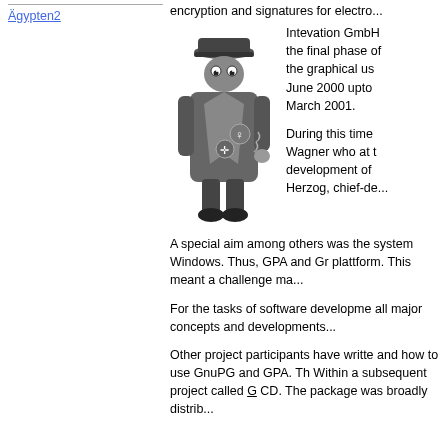Ägypten2
encryption and signatures for electro...
[Figure (illustration): Cartoon spy/detective character in a trenchcoat and hat, holding open their coat to reveal items, drawn in black and white comic style]
Intevation GmbH the final phase of the graphical us June 2000 upto March 2001.
During this time Wagner who at t development of Herzog, chief-de...
A special aim among others was the system Windows. Thus, GPA and Gr plattform. This meant a challenge ma...
For the tasks of software developme all major concepts and developments...
Other project participants have writte and how to use GnuPG and GPA. Th Within a subsequent project called G CD. The package was broadly distrib...